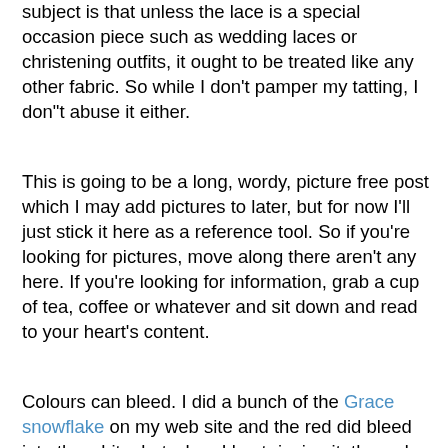subject is that unless the lace is a special occasion piece such as wedding laces or christening outfits, it ought to be treated like any other fabric. So while I don't pamper my tatting, I don"t abuse it either.
This is going to be a long, wordy, picture free post which I may add pictures to later, but for now I'll just stick it here as a reference tool. So if you're looking for pictures, move along there aren't any here. If you're looking for information, grab a cup of tea, coffee or whatever and sit down and read to your heart's content.
There's whole bunch of things that are helpful to know. So here it is divided into 2 categories. Tatting with modern threads will stand up to washing as well as any fabric. I regularly throw my tatting in the wash with the rest of the laundry. So there goes the theory that you have to treat it with special care. LOL
Colours can bleed. I did a bunch of the Grace snowflake on my web site and the red did bleed into the white, but when I kept rinsing it, the red bleeding disappeared. Modern cottons